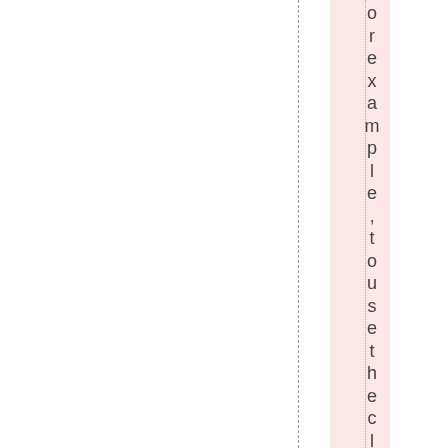or example ,to use the classical c